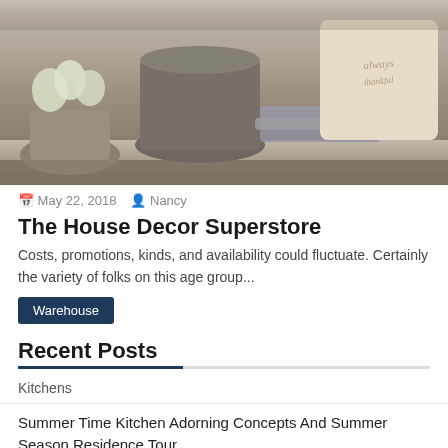[Figure (photo): Home decor scene with galvanized metal pots, white flowers, stacked plates, and a decorative pillow with script text]
May 22, 2018  Nancy
The House Decor Superstore
Costs, promotions, kinds, and availability could fluctuate. Certainly the variety of folks on this age group...
Warehouse
Recent Posts
Kitchens
Summer Time Kitchen Adorning Concepts And Summer Season Residence Tour
Tips On How To Decorate The Highest Of A Cabinet And The Way Not To